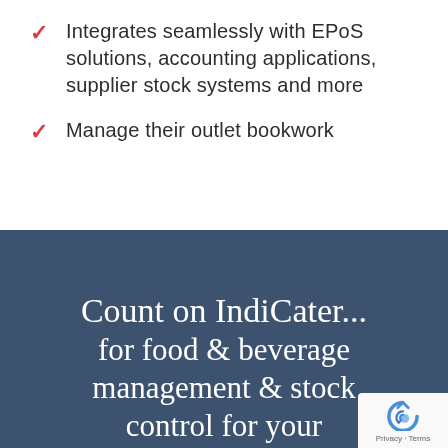Integrates seamlessly with EPoS solutions, accounting applications, supplier stock systems and more
Manage their outlet bookwork
Count on IndiCater... for food & beverage management & stock control for your foodservice sites